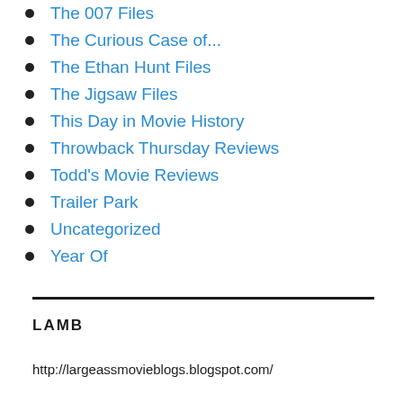The 007 Files
The Curious Case of...
The Ethan Hunt Files
The Jigsaw Files
This Day in Movie History
Throwback Thursday Reviews
Todd's Movie Reviews
Trailer Park
Uncategorized
Year Of
LAMB
http://largeassmovieblogs.blogspot.com/